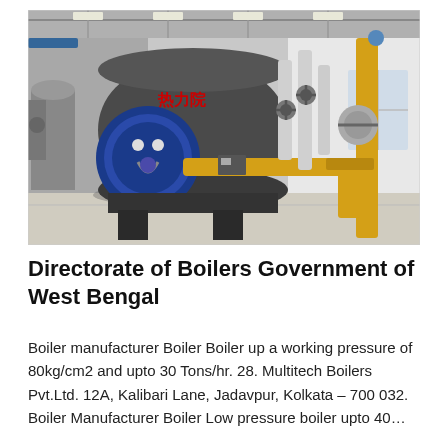[Figure (photo): Industrial boiler room with a large dark-colored cylindrical boiler with blue front burner assembly, yellow gas pipes on the right, and white industrial piping in the background]
Directorate of Boilers Government of West Bengal
Boiler manufacturer Boiler Boiler up a working pressure of 80kg/cm2 and upto 30 Tons/hr. 28. Multitech Boilers Pvt.Ltd. 12A, Kalibari Lane, Jadavpur, Kolkata – 700 032. Boiler Manufacturer Boiler Low pressure boiler upto 40…